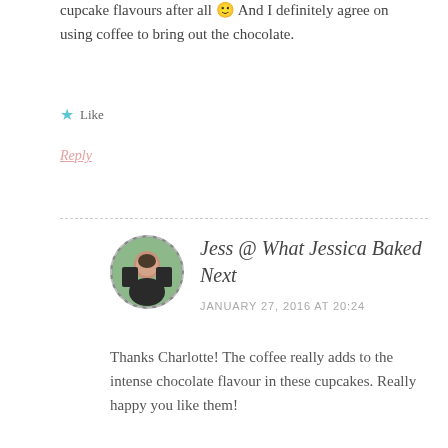cupcake flavours after all 🙂 And I definitely agree on using coffee to bring out the chocolate.
Like
Reply
Jess @ What Jessica Baked Next
JANUARY 27, 2016 AT 20:24
Thanks Charlotte! The coffee really adds to the intense chocolate flavour in these cupcakes. Really happy you like them!
Like
Reply